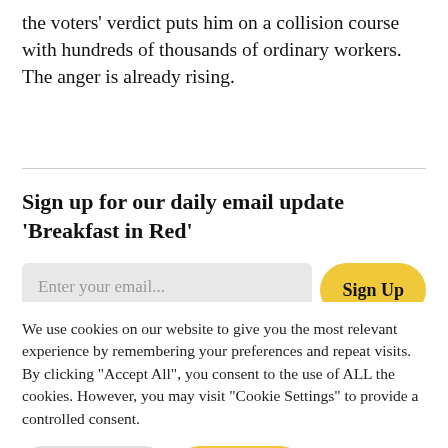the voters' verdict puts him on a collision course with hundreds of thousands of ordinary workers. The anger is already rising.
Sign up for our daily email update 'Breakfast in Red'
Enter your email...
Sign Up
We use cookies on our website to give you the most relevant experience by remembering your preferences and repeat visits. By clicking "Accept All", you consent to the use of ALL the cookies. However, you may visit "Cookie Settings" to provide a controlled consent.
Cookie Settings
Accept All